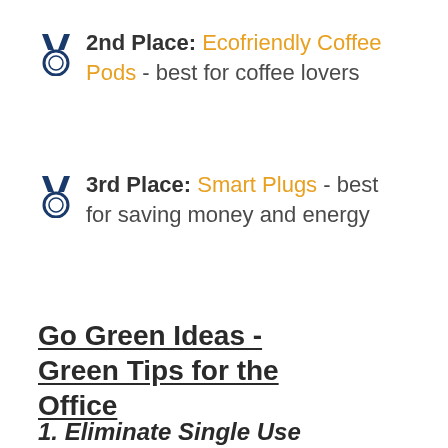2nd Place: Ecofriendly Coffee Pods - best for coffee lovers
3rd Place: Smart Plugs - best for saving money and energy
Go Green Ideas - Green Tips for the Office
1. Eliminate Single Use